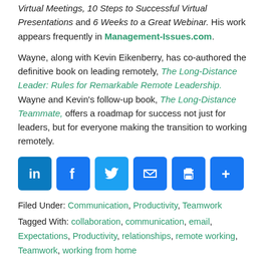Virtual Meetings, 10 Steps to Successful Virtual Presentations and 6 Weeks to a Great Webinar. His work appears frequently in Management-Issues.com.
Wayne, along with Kevin Eikenberry, has co-authored the definitive book on leading remotely, The Long-Distance Leader: Rules for Remarkable Remote Leadership. Wayne and Kevin's follow-up book, The Long-Distance Teammate, offers a roadmap for success not just for leaders, but for everyone making the transition to working remotely.
[Figure (infographic): Row of 6 social sharing icon buttons: LinkedIn, Facebook, Twitter, Email, Print, Share (plus sign)]
Filed Under: Communication, Productivity, Teamwork
Tagged With: collaboration, communication, email, Expectations, Productivity, relationships, remote working, Teamwork, working from home